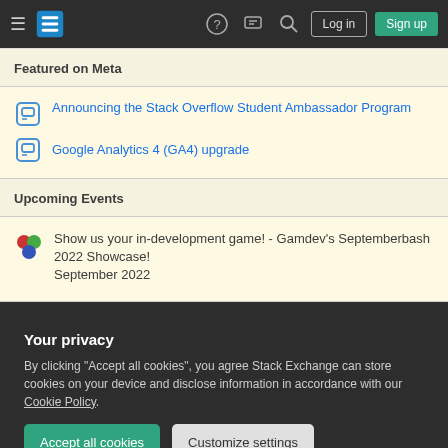Stack Overflow navigation bar with hamburger menu, logo, help, chat, search, Log in, Sign up buttons
Featured on Meta
Announcing the Stack Overflow Student Ambassador Program
Google Analytics 4 (GA4) upgrade
Upcoming Events
Show us your in-development game! - Gamdev's Septemberbash 2022 Showcase! September 2022
Your privacy
By clicking "Accept all cookies", you agree Stack Exchange can store cookies on your device and disclose information in accordance with our Cookie Policy.
Accept all cookies   Customize settings
What is the state of the art at shipping game graphics such as...